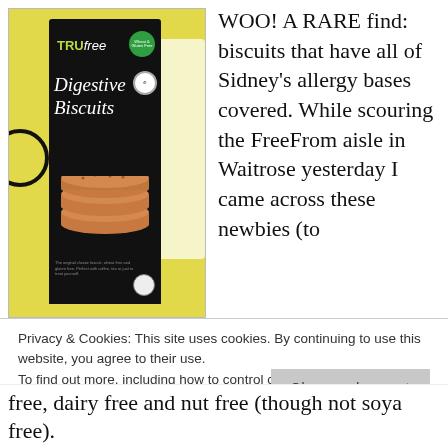[Figure (photo): Photo of a TRUfree Digestive Biscuits box — black packaging with green wheat & gluten free badge, product name in white italic script, and stacked biscuits shown on the front. Yellow background.]
WOO! A RARE find: biscuits that have all of Sidney's allergy bases covered. While scouring the FreeFrom aisle in Waitrose yesterday I came across these newbies (to
Privacy & Cookies: This site uses cookies. By continuing to use this website, you agree to their use.
To find out more, including how to control cookies, see here: Cookie Policy
Close and accept
free, dairy free and nut free (though not soya free).